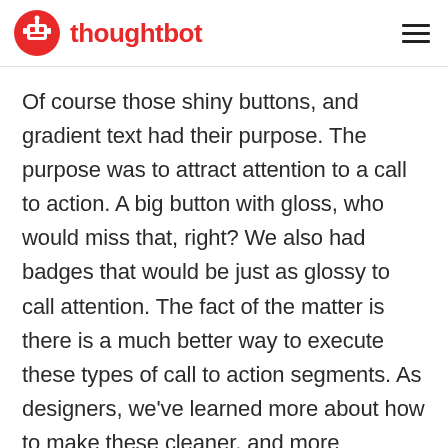thoughtbot
Of course those shiny buttons, and gradient text had their purpose. The purpose was to attract attention to a call to action. A big button with gloss, who would miss that, right? We also had badges that would be just as glossy to call attention. The fact of the matter is there is a much better way to execute these types of call to action segments. As designers, we've learned more about how to make these cleaner, and more approachable through beauty. Through the transformation out of the web 2.0 days